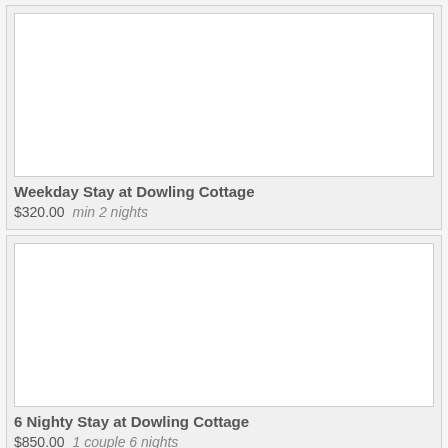[Figure (photo): White/blank image placeholder for Weekday Stay at Dowling Cottage listing]
Weekday Stay at Dowling Cottage
$320.00  min 2 nights
[Figure (photo): White/blank image placeholder for 6 Nighty Stay at Dowling Cottage listing]
6 Nighty Stay at Dowling Cottage
$850.00  1 couple 6 nights